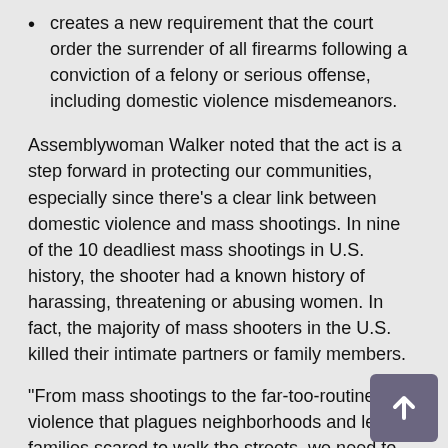creates a new requirement that the court order the surrender of all firearms following a conviction of a felony or serious offense, including domestic violence misdemeanors.
Assemblywoman Walker noted that the act is a step forward in protecting our communities, especially since there's a clear link between domestic violence and mass shootings. In nine of the 10 deadliest mass shootings in U.S. history, the shooter had a known history of harassing, threatening or abusing women. In fact, the majority of mass shooters in the U.S. killed their intimate partners or family members.
“From mass shootings to the far-too-routine violence that plagues neighborhoods and leaves families scared to walk the streets, we need to do more,” said Assemblywoman Walker “Thoughts and prayers will